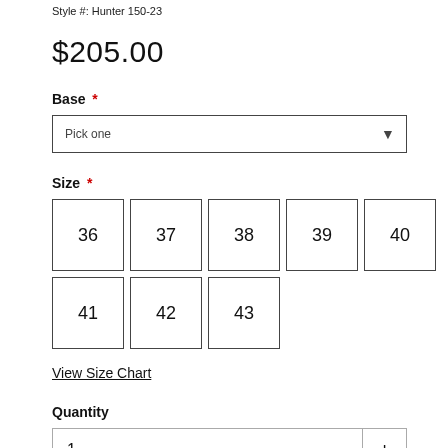Style #: Hunter 150-23
$205.00
Base *
Pick one
Size *
36
37
38
39
40
41
42
43
View Size Chart
Quantity
1